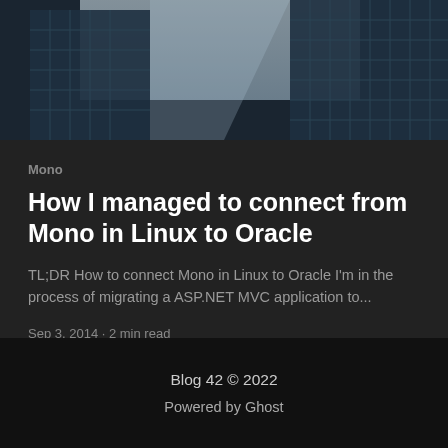[Figure (photo): Upward-looking photo of tall glass skyscrapers with a grey sky, showing geometric building facades]
Mono
How I managed to connect from Mono in Linux to Oracle
TL;DR How to connect Mono in Linux to Oracle I'm in the process of migrating a ASP.NET MVC application to...
Sep 3, 2014 · 2 min read
Blog 42 © 2022
Powered by Ghost